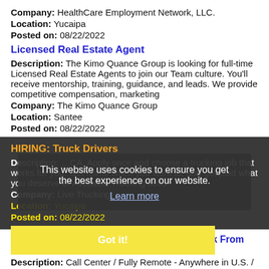Company: HealthCare Employment Network, LLC.
Location: Yucaipa
Posted on: 08/22/2022
Licensed Real Estate Agent
Description: The Kimo Quance Group is looking for full-time Licensed Real Estate Agents to join our Team culture. You'll receive mentorship, training, guidance, and leads. We provide competitive compensation, marketing
Company: The Kimo Quance Group
Location: Santee
Posted on: 08/22/2022
HIRING: Truck Drivers
Description: [partially obscured] CA. Apply once and choose a trucking job that works for you. Get home when you want to, and get paid what you deserve br Available Trucking Jobs:
Company: Live Trucking
Location: Yucaipa
Posted on: 08/22/2022
This website uses cookies to ensure you get the best experience on our website.
Learn more
Got it!
FT Customer Service Consultant *100% Work From Home*
Description: Call Center / Fully Remote - Anywhere in U.S. / 15 per